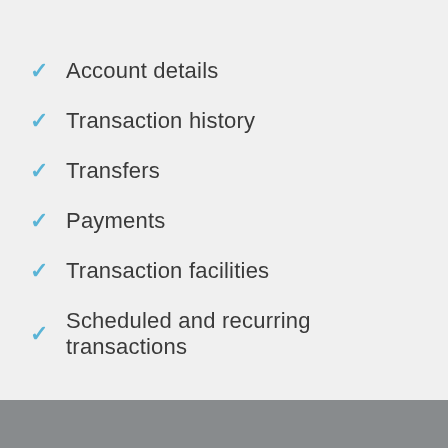Account details
Transaction history
Transfers
Payments
Transaction facilities
Scheduled and recurring transactions